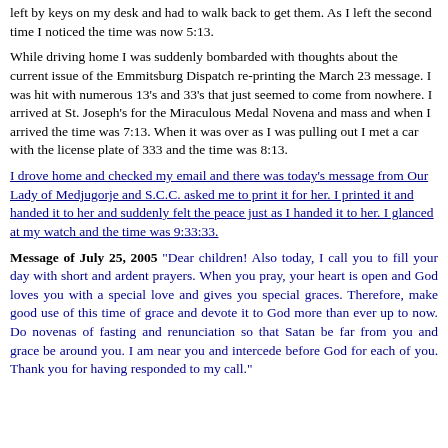left by keys on my desk and had to walk back to get them. As I left the second time I noticed the time was now 5:13.
While driving home I was suddenly bombarded with thoughts about the current issue of the Emmitsburg Dispatch re-printing the March 23 message. I was hit with numerous 13's and 33's that just seemed to come from nowhere. I arrived at St. Joseph's for the Miraculous Medal Novena and mass and when I arrived the time was 7:13. When it was over as I was pulling out I met a car with the license plate of 333 and the time was 8:13.
I drove home and checked my email and there was today's message from Our Lady of Medjugorje and S.C.C. asked me to print it for her. I printed it and handed it to her and suddenly felt the peace just as I handed it to her. I glanced at my watch and the time was 9:33:33.
Message of July 25, 2005 "Dear children! Also today, I call you to fill your day with short and ardent prayers. When you pray, your heart is open and God loves you with a special love and gives you special graces. Therefore, make good use of this time of grace and devote it to God more than ever up to now. Do novenas of fasting and renunciation so that Satan be far from you and grace be around you. I am near you and intercede before God for each of you. Thank you for having responded to my call."